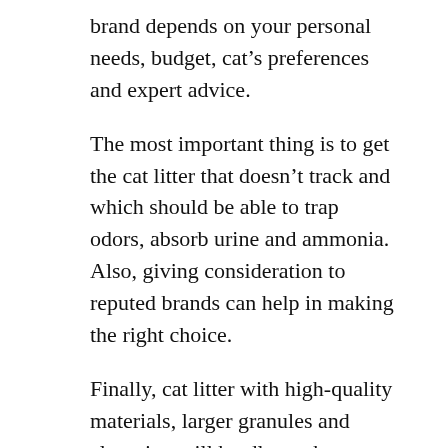brand depends on your personal needs, budget, cat’s preferences and expert advice.
The most important thing is to get the cat litter that doesn’t track and which should be able to trap odors, absorb urine and ammonia. Also, giving consideration to reputed brands can help in making the right choice.
Finally, cat litter with high-quality materials, larger granules and clumping will hardly track.
Kate Barrington
Kate Barrington holds a Bachelor’s degree in English and is the published author of several self-help books and nutrition guides. Also an avid dog lover and adoring